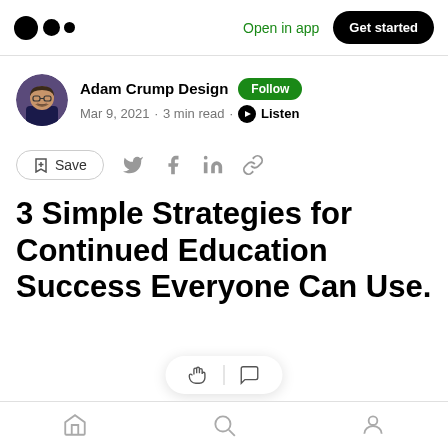Medium app header — Open in app | Get started
Adam Crump Design · Follow
Mar 9, 2021 · 3 min read · Listen
[Figure (other): Author avatar photo of Adam Crump Design]
Save (bookmark icon) | Twitter | Facebook | LinkedIn | Link icons
3 Simple Strategies for Continued Education Success Everyone Can Use.
The challenge of starting a career change or going
Bottom navigation: Home | Search | Profile